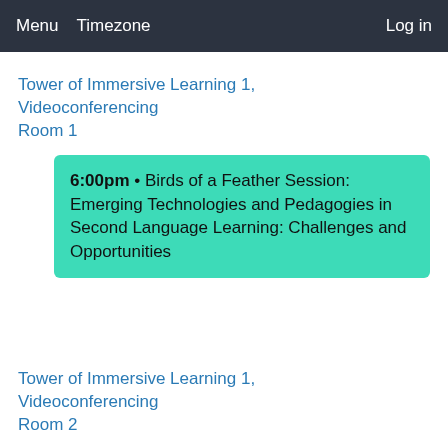Menu   Timezone   Log in
Tower of Immersive Learning 1, Videoconferencing Room 1
6:00pm • Birds of a Feather Session: Emerging Technologies and Pedagogies in Second Language Learning: Challenges and Opportunities
Tower of Immersive Learning 1, Videoconferencing Room 2
6:00pm • Birds of a Feather